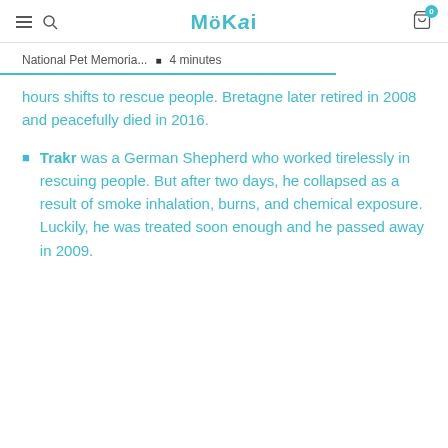MöKai
National Pet Memoria...  •  4 minutes
hours shifts to rescue people. Bretagne later retired in 2008 and peacefully died in 2016.
Trakr was a German Shepherd who worked tirelessly in rescuing people. But after two days, he collapsed as a result of smoke inhalation, burns, and chemical exposure. Luckily, he was treated soon enough and he passed away in 2009.